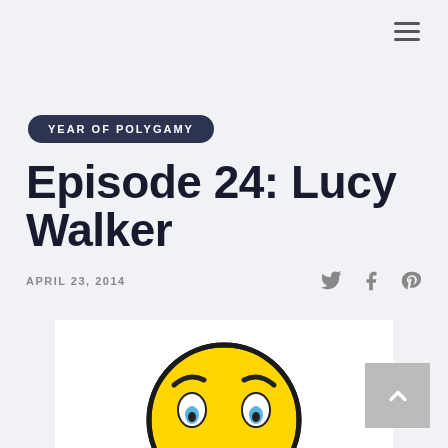≡
YEAR OF POLYGAMY
Episode 24: Lucy Walker
APRIL 23, 2014
[Figure (illustration): Worried face emoji illustration — a round yellow head with sad eyebrows, blue teardrop eyes, and hands on cheeks, partially cropped at bottom.]